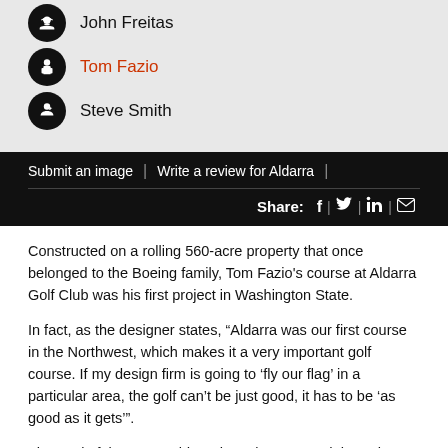John Freitas
Tom Fazio
Steve Smith
Submit an image | Write a review for Aldarra |
Share: f | [twitter] | in | [email]
Constructed on a rolling 560-acre property that once belonged to the Boeing family, Tom Fazio's course at Aldarra Golf Club was his first project in Washington State.
In fact, as the designer states, “Aldarra was our first course in the Northwest, which makes it a very important golf course. If my design firm is going to ‘fly our flag’ in a particular area, the golf can’t be just good, it has to be ‘as good as it gets’”.
The Fazio fairways at Aldarra have been routed through a heavily forested, secluded landscape with significant changes in elevation that allow amazing views of Mount Si and the surrounding Cascade mountains – it’s all very understated but spectacular, nonetheless.